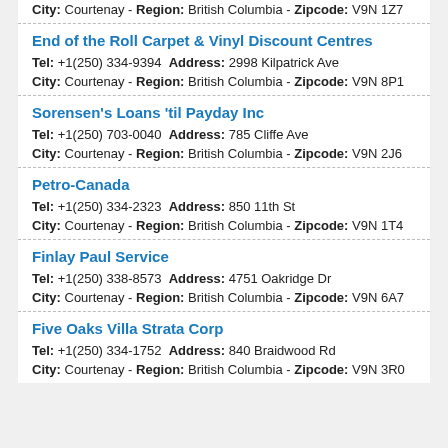City: Courtenay - Region: British Columbia - Zipcode: V9N 1Z7
End of the Roll Carpet & Vinyl Discount Centres
Tel: +1(250) 334-9394 Address: 2998 Kilpatrick Ave
City: Courtenay - Region: British Columbia - Zipcode: V9N 8P1
Sorensen's Loans 'til Payday Inc
Tel: +1(250) 703-0040 Address: 785 Cliffe Ave
City: Courtenay - Region: British Columbia - Zipcode: V9N 2J6
Petro-Canada
Tel: +1(250) 334-2323 Address: 850 11th St
City: Courtenay - Region: British Columbia - Zipcode: V9N 1T4
Finlay Paul Service
Tel: +1(250) 338-8573 Address: 4751 Oakridge Dr
City: Courtenay - Region: British Columbia - Zipcode: V9N 6A7
Five Oaks Villa Strata Corp
Tel: +1(250) 334-1752 Address: 840 Braidwood Rd
City: Courtenay - Region: British Columbia - Zipcode: V9N 3R0